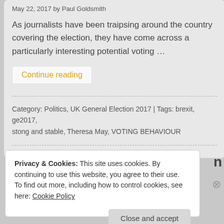May 22, 2017 by Paul Goldsmith
As journalists have been traipsing around the country covering the election, they have come across a particularly interesting potential voting …
Continue reading
Category: Politics, UK General Election 2017 | Tags: brexit, ge2017, stong and stable, Theresa May, VOTING BEHAVIOUR
Privacy & Cookies: This site uses cookies. By continuing to use this website, you agree to their use.
To find out more, including how to control cookies, see here: Cookie Policy
Close and accept